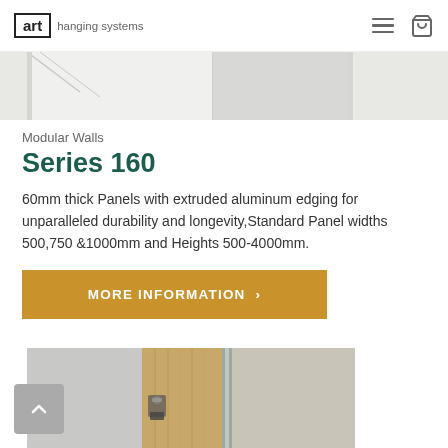art hanging systems
[Figure (photo): Close-up photo of modular wall panels with aluminum edging, light grey/white tones]
Modular Walls
Series 160
60mm thick Panels with extruded aluminum edging for unparalleled durability and longevity,Standard Panel widths 500,750 &1000mm and Heights 500-4000mm.
MORE INFORMATION >
[Figure (photo): Close-up photo of modular wall panel corner joint showing aluminum extrusion, wood core, and panel faces]